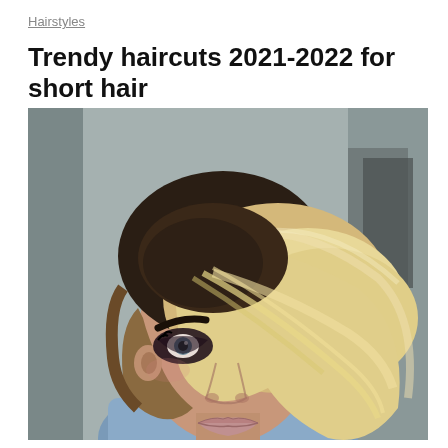Hairstyles
Trendy haircuts 2021-2022 for short hair
[Figure (photo): Close-up portrait of a young woman with a short asymmetric bob haircut featuring dark roots blending into platinum blonde hair swept to one side covering one eye, with heavy eye makeup and pink-nude lipstick, wearing a denim shirt, photographed against a blurred grey/teal background.]